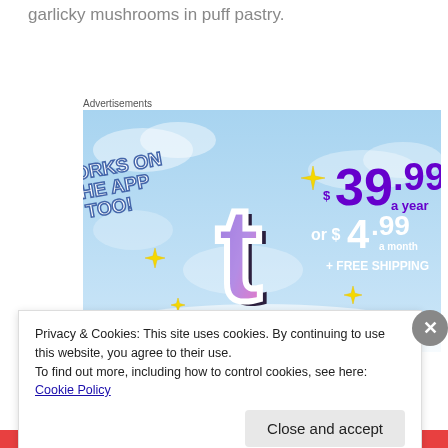garlicky mushrooms in puff pastry.
Advertisements
[Figure (illustration): Tumblr advertisement banner showing a stylized 't' logo with sparkles on a light blue sky background. Text reads 'WORKS ON THE APP TOO!' on the left and '$39.99 a year or $4.99 a month + FREE SHIPPING' on the right in purple and white text.]
Privacy & Cookies: This site uses cookies. By continuing to use this website, you agree to their use.
To find out more, including how to control cookies, see here: Cookie Policy